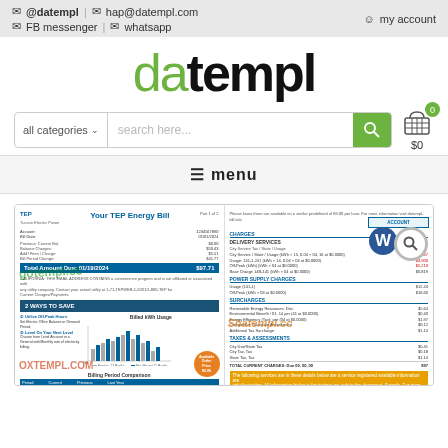@datempl | hap@datempl.com | my account | FB messenger | whatsapp
datempl
all categories | search here... [search button] [cart $0]
≡ menu
[Figure (screenshot): Preview thumbnail of a TEP (Tucson Electric Power) energy bill document showing bill header, account details, blue total amount due bar, 2 ways to save section, billed kWh usage bar chart, billing period comparison table, and watermarks including gotempl.cc and OXTEMPL.COM. Right side shows second page of bill with charges breakdown, contact info, Word document icon overlay, search icon overlay, Shatempl.cc watermark, payment methods table, and ways to pay section.]